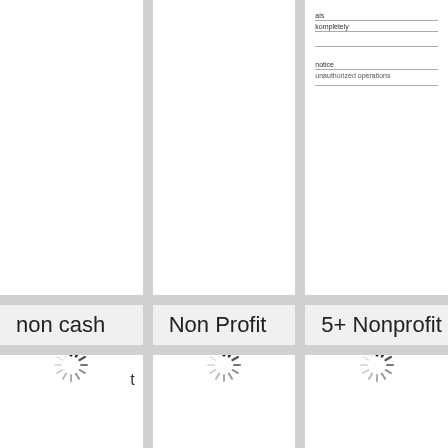[Figure (screenshot): Partial document card in top-right cell showing text fields: 'als', 'kompletely', blank line, 'notice', 'unauthorized operations']
non cash
Non Profit
5+ Nonprofit
t
t
[Figure (other): Loading spinner icon in bottom-left cell]
[Figure (other): Loading spinner icon in bottom-center cell]
[Figure (other): Loading spinner icon in bottom-right cell]